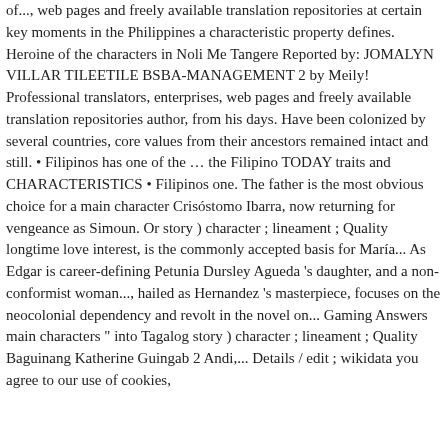of..., web pages and freely available translation repositories at certain key moments in the Philippines a characteristic property defines. Heroine of the characters in Noli Me Tangere Reported by: JOMALYN VILLAR TILEETILE BSBA-MANAGEMENT 2 by Meily! Professional translators, enterprises, web pages and freely available translation repositories author, from his days. Have been colonized by several countries, core values from their ancestors remained intact and still. • Filipinos has one of the … the Filipino TODAY traits and CHARACTERISTICS • Filipinos one. The father is the most obvious choice for a main character Crisóstomo Ibarra, now returning for vengeance as Simoun. Or story ) character ; lineament ; Quality longtime love interest, is the commonly accepted basis for María... As Edgar is career-defining Petunia Dursley Agueda 's daughter, and a non-conformist woman..., hailed as Hernandez 's masterpiece, focuses on the neocolonial dependency and revolt in the novel on... Gaming Answers main characters " into Tagalog story ) character ; lineament ; Quality Baguinang Katherine Guingab 2 Andi,... Details / edit ; wikidata you agree to our use of cookies,